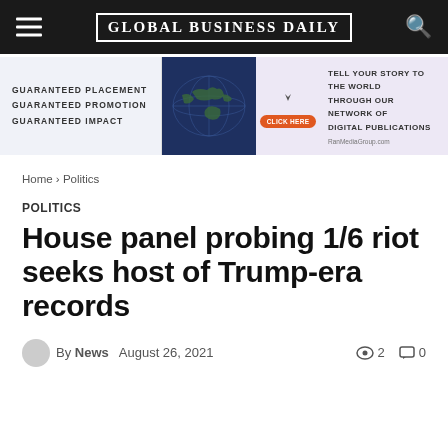GLOBAL BUSINESS DAILY
[Figure (photo): Advertisement banner: Guaranteed Placement Guaranteed Promotion Guaranteed Impact — Tell Your Story To The World Through Our Network Of Digital Publications — RanMediaGroup.com]
Home › Politics
POLITICS
House panel probing 1/6 riot seeks host of Trump-era records
By News   August 26, 2021   👁 2   💬 0